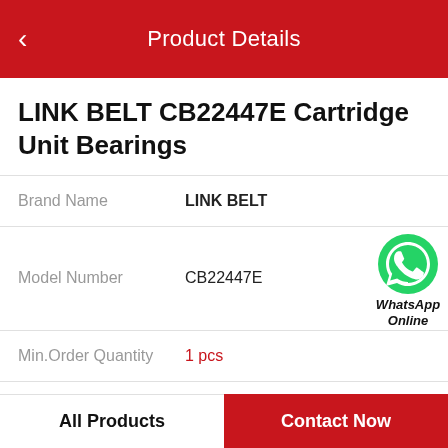Product Details
LINK BELT CB22447E Cartridge Unit Bearings
| Field | Value |
| --- | --- |
| Brand Name | LINK BELT |
| Model Number | CB22447E |
| Min.Order Quantity | 1 pcs |
| Price | Negotiable |
[Figure (logo): WhatsApp Online green phone icon with text 'WhatsApp Online']
Product Features